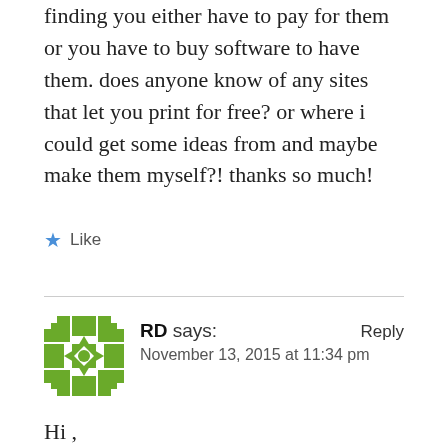finding you either have to pay for them or you have to buy software to have them. does anyone know of any sites that let you print for free? or where i could get some ideas from and maybe make them myself?! thanks so much!
★ Like
RD says:
November 13, 2015 at 11:34 pm
Reply
Hi,
I love the monthly / Daily Perpetual planner! Do